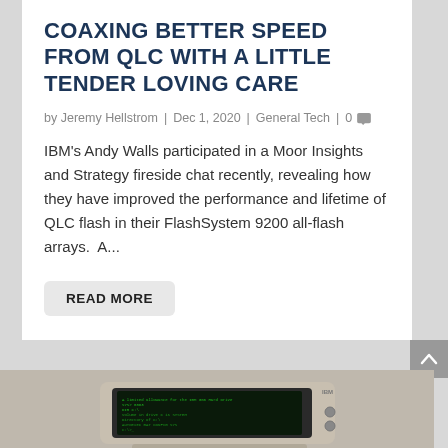COAXING BETTER SPEED FROM QLC WITH A LITTLE TENDER LOVING CARE
by Jeremy Hellstrom | Dec 1, 2020 | General Tech | 0
IBM's Andy Walls participated in a Moor Insights and Strategy fireside chat recently, revealing how they have improved the performance and lifetime of QLC flash in their FlashSystem 9200 all-flash arrays.  A...
READ MORE
[Figure (photo): Old IBM computer monitor with green text on dark screen, beige casing, partially visible at bottom of page]